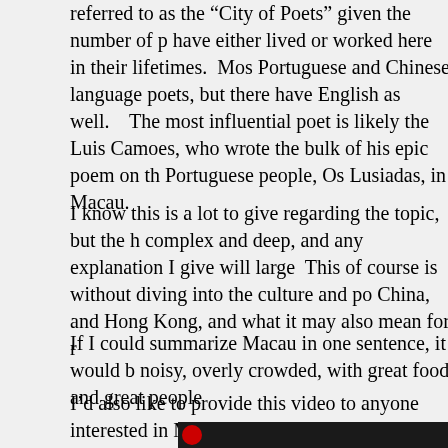referred to as the “City of Poets” given the number of p… have either lived or worked here in their lifetimes.  Mo… Portuguese and Chinese language poets, but there have … English as well.   The most influential poet is likely the … Luis Camoes, who wrote the bulk of his epic poem on th… Portuguese people, Os Lusiadas, in Macau.
I know this is a lot to give regarding the topic, but the h… complex and deep, and any explanation I give will large…  This of course is without diving into the culture and po… China, and Hong Kong, and what it may also mean for r…
If I could summarize Macau in one sentence, it would b… noisy, overly crowded, with great food and great people…
I’d also like to provide this video to anyone interested in… Macau is about.  The Macau tourism board released this… Julian Davison recently, and is about the best capture of…
[Figure (photo): Bottom strip of a dark image showing a red circle/logo on a dark background]